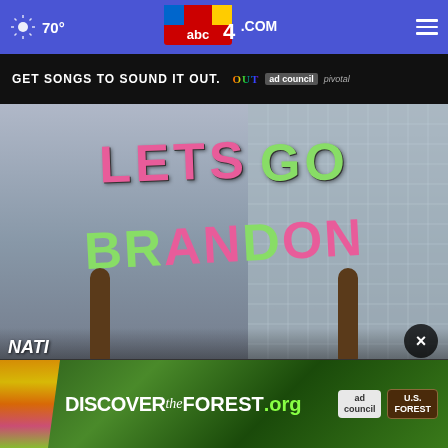70° abc4.com navigation header
[Figure (screenshot): Top ad banner: GET SONGS TO SOUND IT OUT. with Sound It Out and Ad Council / Pivotal logos on black background]
[Figure (photo): Person holding a sign reading LETS GO BRANDON with pink and green letters against a glass building background]
[Figure (screenshot): Bottom ad banner: DISCOVERtheFOREST.org with Ad Council and US Forest Service logos on colorful floral background]
NATI